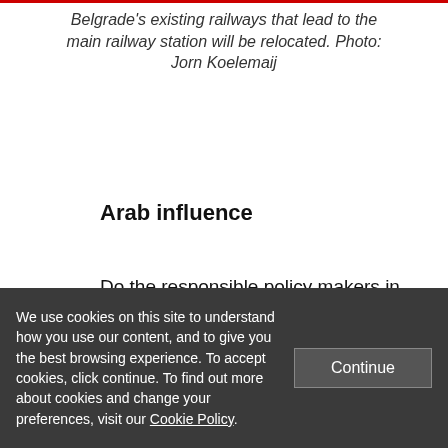Belgrade's existing railways that lead to the main railway station will be relocated. Photo: Jorn Koelemaij
Arab influence
Do the responsible policy makers in Belgrade actually believe that the Waterfront development will be a “game changer” for the future of Serbia? Many suggest that
We use cookies on this site to understand how you use our content, and to give you the best browsing experience. To accept cookies, click continue. To find out more about cookies and change your preferences, visit our Cookie Policy.